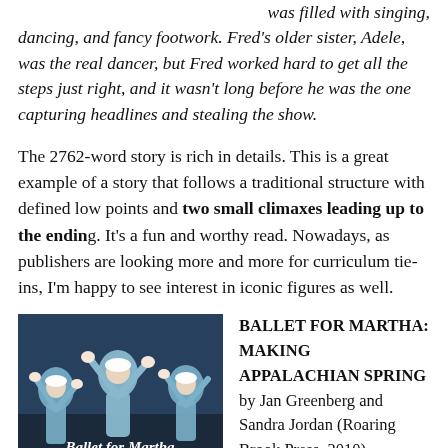was filled with singing, dancing, and fancy footwork. Fred's older sister, Adele, was the real dancer, but Fred worked hard to get all the steps just right, and it wasn't long before he was the one capturing headlines and stealing the show.
The 2762-word story is rich in details. This is a great example of a story that follows a traditional structure with defined low points and two small climaxes leading up to the ending. It's a fun and worthy read. Nowadays, as publishers are looking more and more for curriculum tie-ins, I'm happy to see interest in iconic figures as well.
[Figure (photo): Book cover of 'Ballet for Martha: Making Appalachian Spring' by Jan Greenberg and Sandra Jordan, illustrated by Brian Floca. Shows dancers in blue/teal costumes with arms raised.]
BALLET FOR MARTHA: MAKING APPALACHIAN SPRING by Jan Greenberg and Sandra Jordan (Roaring Brook Press, 2010)